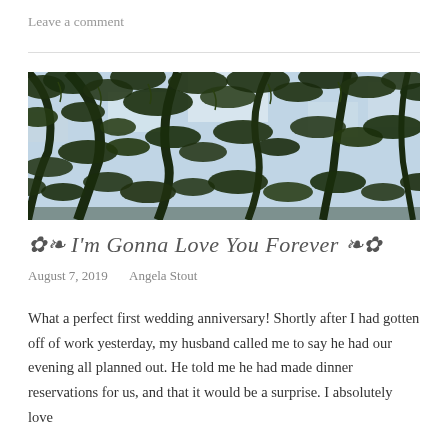Leave a comment
[Figure (photo): Outdoor photo looking up through tree branches with green leaves against a light sky]
✿❧ I'm Gonna Love You Forever ❧✿
August 7, 2019   Angela Stout
What a perfect first wedding anniversary! Shortly after I had gotten off of work yesterday, my husband called me to say he had our evening all planned out. He told me he had made dinner reservations for us, and that it would be a surprise. I absolutely love